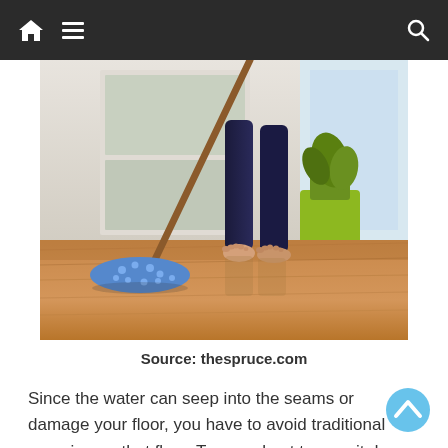Navigation bar with home icon, menu icon, and search icon
[Figure (photo): Person mopping a hardwood floor with a blue microfiber mop head on a wooden stick, standing barefoot, with a yellow-green plant pot in the background near a window.]
Source: thespruce.com
Since the water can seep into the seams or damage your floor, you have to avoid traditional mopping on that floor. Try your best to mop it dry